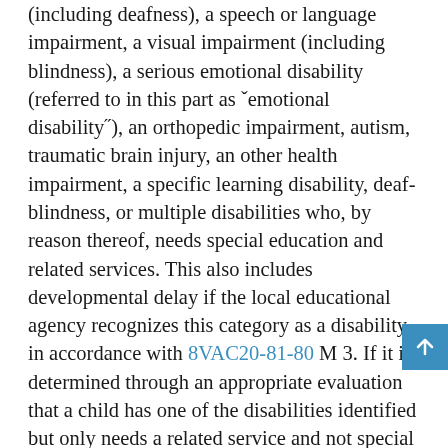(including deafness), a speech or language impairment, a visual impairment (including blindness), a serious emotional disability (referred to in this part as "emotional disability"), an orthopedic impairment, autism, traumatic brain injury, an other health impairment, a specific learning disability, deaf-blindness, or multiple disabilities who, by reason thereof, needs special education and related services. This also includes developmental delay if the local educational agency recognizes this category as a disability in accordance with 8VAC20-81-80 M 3. If it is determined through an appropriate evaluation that a child has one of the disabilities identified but only needs a related service and not special education, the child is not a child with a disability under this part. If the related service required by the child is considered special education rather than a related service under Virginia standards, the child would be determined to be a child with a disability. (§ 22.1-213 of the Code of Virginia; 34 CFR 300.8(a)(1) and 34 CFR 300.8(a)(2)(i) and (ii))